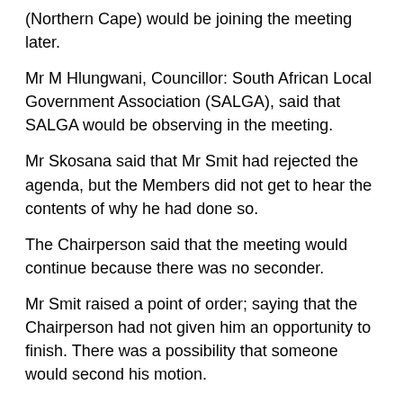(Northern Cape) would be joining the meeting later.
Mr M Hlungwani, Councillor: South African Local Government Association (SALGA), said that SALGA would be observing in the meeting.
Mr Skosana said that Mr Smit had rejected the agenda, but the Members did not get to hear the contents of why he had done so.
The Chairperson said that the meeting would continue because there was no seconder.
Mr Smit raised a point of order; saying that the Chairperson had not given him an opportunity to finish. There was a possibility that someone would second his motion.
The Chairperson interjected to say that the matter of the agenda had been completed.
Mr Smit countered that the Chairperson could not operate like that. He said that there was an objection, and she did not want to hear the objection. She could not have just two Members agreeing to an agenda, and then “automatically throw out any objecting view”. The Chairperson had to hear him out on his